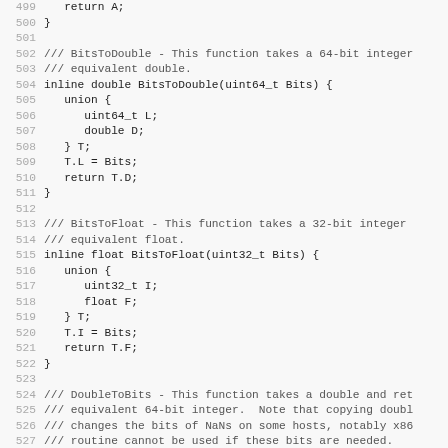[Figure (screenshot): Source code listing showing C++ functions BitsToDouble, BitsToFloat, and DoubleToBits with line numbers 499-530. The code uses monospace font on a light gray background. Line numbers are shown in gray on the left. Code includes union types for type-punning between integer and floating-point representations.]